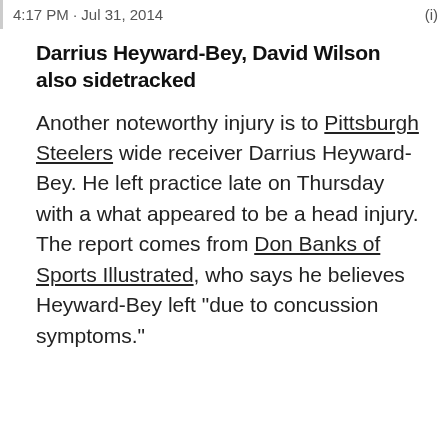4:17 PM · Jul 31, 2014
Darrius Heyward-Bey, David Wilson also sidetracked
Another noteworthy injury is to Pittsburgh Steelers wide receiver Darrius Heyward-Bey. He left practice late on Thursday with a what appeared to be a head injury. The report comes from Don Banks of Sports Illustrated, who says he believes Heyward-Bey left "due to concussion symptoms."